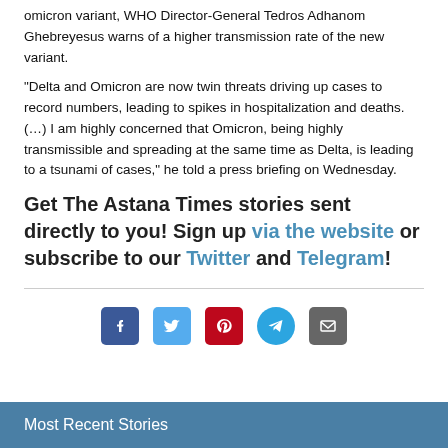omicron variant, WHO Director-General Tedros Adhanom Ghebreyesus warns of a higher transmission rate of the new variant.
"Delta and Omicron are now twin threats driving up cases to record numbers, leading to spikes in hospitalization and deaths. (…) I am highly concerned that Omicron, being highly transmissible and spreading at the same time as Delta, is leading to a tsunami of cases," he told a press briefing on Wednesday.
Get The Astana Times stories sent directly to you! Sign up via the website or subscribe to our Twitter and Telegram!
[Figure (infographic): Row of five social media sharing icons: Facebook (blue rounded square), Twitter (light blue rounded square), Pinterest (red rounded square), Telegram (blue circle), Email (grey rounded square)]
Most Recent Stories